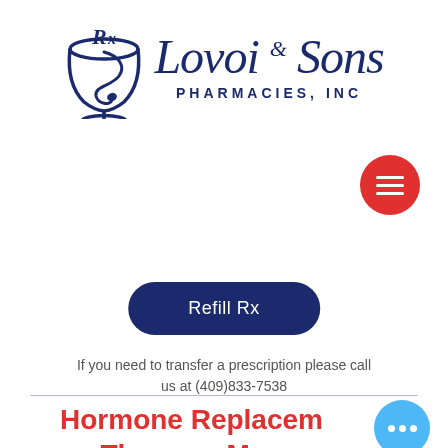[Figure (logo): Lovoi & Sons Pharmacies, Inc logo with Bowl of Hygeia (cup with snake) symbol on the left and script text 'Lovoi & Sons' with 'PHARMACIES, INC' below in navy blue]
[Figure (other): Red circular hamburger/menu button with three white horizontal lines]
Refill Rx
If you need to transfer a prescription please call us at (409)833-7538
Hormone Replacement Therapy- Men
[Figure (other): Light blue circular chat button with three white dots]